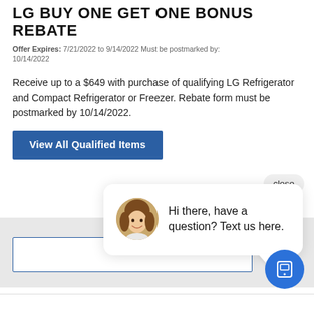LG BUY ONE GET ONE BONUS REBATE
Offer Expires: 7/21/2022 to 9/14/2022 Must be postmarked by: 10/14/2022
Receive up to a $649 with purchase of qualifying LG Refrigerator and Compact Refrigerator or Freezer. Rebate form must be postmarked by 10/14/2022.
View All Qualified Items
close
[Figure (photo): Chat popup with avatar photo of a young woman smiling, with message: Hi there, have a question? Text us here.]
Hi there, have a question? Text us here.